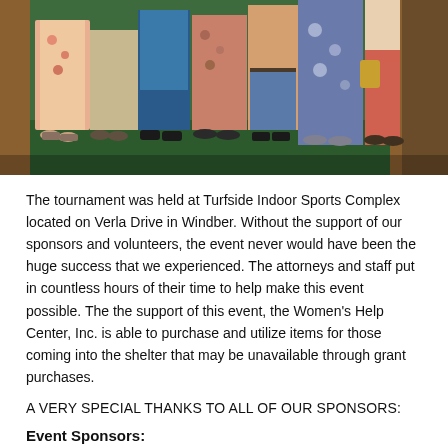[Figure (photo): Group photo showing multiple people standing together, their lower bodies visible — various clothing including floral dresses, blue jeans, and bright colored pants on a green carpeted floor]
The tournament was held at Turfside Indoor Sports Complex located on Verla Drive in Windber. Without the support of our sponsors and volunteers, the event never would have been the huge success that we experienced. The attorneys and staff put in countless hours of their time to help make this event possible. The the support of this event, the Women's Help Center, Inc. is able to purchase and utilize items for those coming into the shelter that may be unavailable through grant purchases.
A VERY SPECIAL THANKS TO ALL OF OUR SPONSORS:
Event Sponsors:
E-Map
Leventry, Haschak & Rodkey, LLC
Gold Sponsors:
Commonwealth Land Title Insurance Company